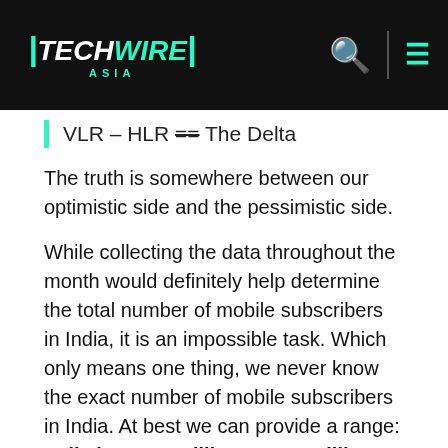TechWire Asia — navigation header
The truth is somewhere between our optimistic side and the pessimistic side.
While collecting the data throughout the month would definitely help determine the total number of mobile subscribers in India, it is an impossible task. Which only means one thing, we never know the exact number of mobile subscribers in India. At best we can provide a range: India has 595 million to 852 million mobile subscribers at the end of June 2011.